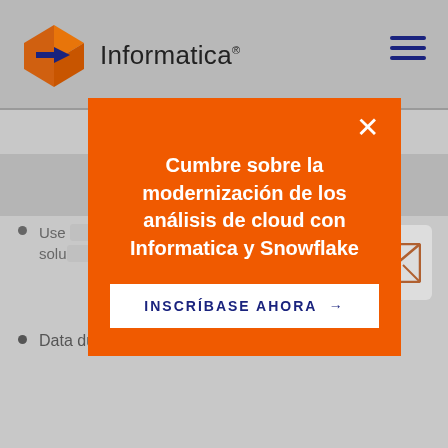[Figure (logo): Informatica logo with diamond/arrow graphic and wordmark 'Informatica']
[Figure (infographic): Hamburger menu icon (three horizontal lines) in top right]
Use ... cs solu...
Data duplication and siloed solutions
[Figure (infographic): Orange modal popup with white X close button, Spanish text 'Cumbre sobre la modernización de los análisis de cloud con Informatica y Snowflake' and 'INSCRÍBASE AHORA →' button]
[Figure (infographic): Email envelope icon button in bottom right corner]